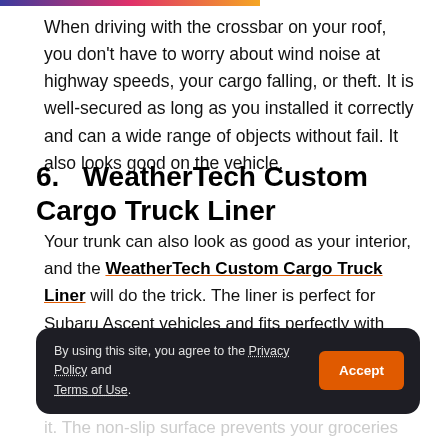When driving with the crossbar on your roof, you don't have to worry about wind noise at highway speeds, your cargo falling, or theft. It is well-secured as long as you installed it correctly and can a wide range of objects without fail. It also looks good on the vehicle.
6.   WeatherTech Custom Cargo Truck Liner
Your trunk can also look as good as your interior, and the WeatherTech Custom Cargo Truck Liner will do the trick. The liner is perfect for Subaru Ascent vehicles and fits perfectly with minimal installation. The simple black design matches the Ascent style, and it protects the resale value of your car.
By using this site, you agree to the Privacy Policy and Terms of Use.
it. The non-slip surface prevents your groceries and other